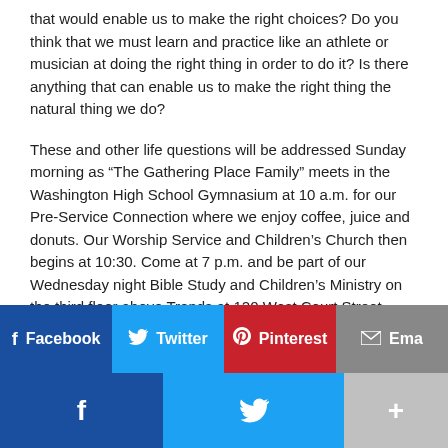that would enable us to make the right choices? Do you think that we must learn and practice like an athlete or musician at doing the right thing in order to do it? Is there anything that can enable us to make the right thing the natural thing we do?
These and other life questions will be addressed Sunday morning as “The Gathering Place Family” meets in the Washington High School Gymnasium at 10 a.m. for our Pre-Service Connection where we enjoy coffee, juice and donuts. Our Worship Service and Children’s Church then begins at 10:30. Come at 7 p.m. and be part of our Wednesday night Bible Study and Children’s Ministry on the third floor above Trends at 120 West Court Street.
[Figure (infographic): Social sharing buttons: Facebook (blue), Twitter (light blue), Pinterest (red), Email (gray), and bottom bar with Facebook, Twitter, and more (+) buttons]